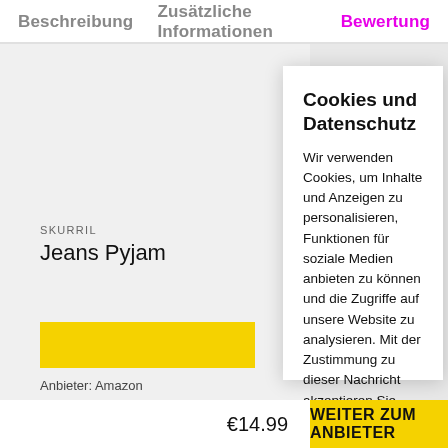Beschreibung   Zusätzliche Informationen   Bewertung
SKURRIL
Jeans Pyjam
Cookies und Datenschutz
Wir verwenden Cookies, um Inhalte und Anzeigen zu personalisieren, Funktionen für soziale Medien anbieten zu können und die Zugriffe auf unsere Website zu analysieren. Mit der Zustimmung zu dieser Nachricht akzeptieren Sie unsere Cookie-Richtlinien & Datenschutzerklärung.
Cookie Einstellungen
Alle akzeptieren
Anbieter: Amazon
€14.99
WEITER ZUM ANBIETER